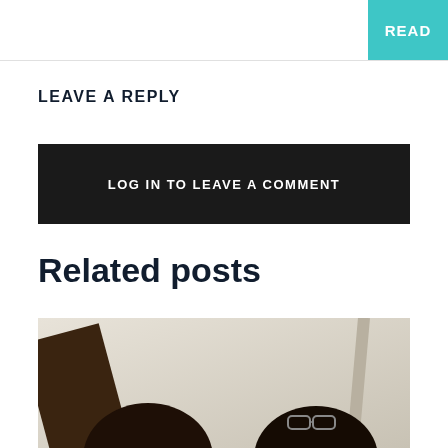LEAVE A REPLY
LOG IN TO LEAVE A COMMENT
Related posts
[Figure (photo): Two people photographed from below against a beige/cream wall with a diagonal dark wooden beam, partially visible heads at the bottom of the frame.]